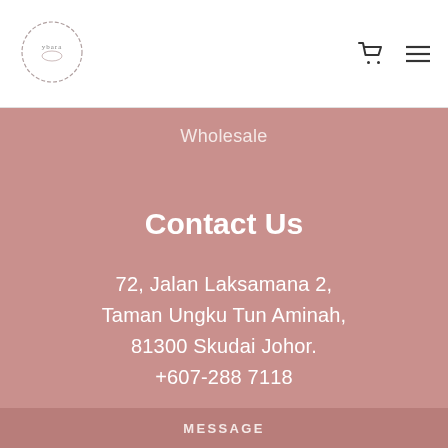[Figure (logo): Circular floral logo with text 'ybara' or similar inside]
Wholesale
Contact Us
72, Jalan Laksamana 2,
Taman Ungku Tun Aminah,
81300 Skudai Johor.
+607-288 7118
Follow Us
MESSAGE